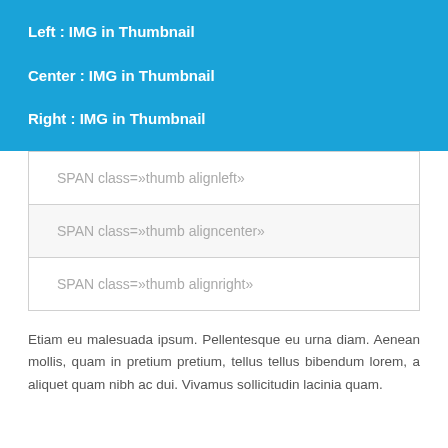Left : IMG in Thumbnail
Center : IMG in Thumbnail
Right : IMG in Thumbnail
SPAN class=»thumb alignleft»
SPAN class=»thumb aligncenter»
SPAN class=»thumb alignright»
Etiam eu malesuada ipsum. Pellentesque eu urna diam. Aenean mollis, quam in pretium pretium, tellus tellus bibendum lorem, a aliquet quam nibh ac dui. Vivamus sollicitudin lacinia quam.